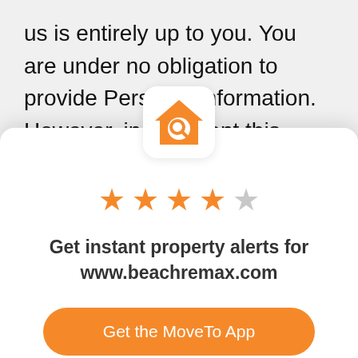us is entirely up to you. You are under no obligation to provide Personal Information. However, in the event this information is essential for us to provide certa⁠⁠⁠ces to you, we will be
[Figure (logo): Orange house with magnifying glass icon on white rounded square background]
[Figure (infographic): 4 filled orange stars and 1 empty gray star rating]
Get instant property alerts for www.beachremax.com
Get the MoveTo App
Not Now